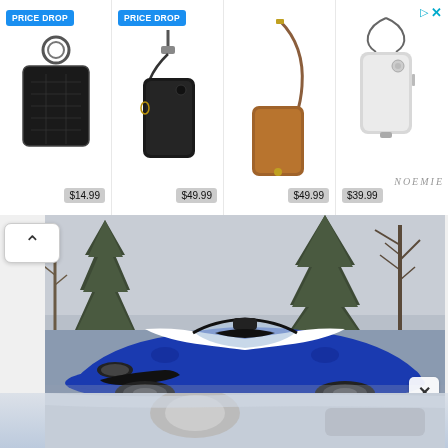[Figure (screenshot): Advertisement banner row showing 4 phone case / accessory products with prices. First two items have 'PRICE DROP' badges. Products: black keyring wallet $14.99, black crossbody phone case $49.99, tan leather phone crossbody case $49.99, silver phone lanyard case $39.99. Fourth column shows Noemie brand logo with ad attribution arrow and X.]
[Figure (photo): Photograph of a blue and white Ford GT or similar supercar convertible/roadster parked outdoors with tall evergreen trees and bare trees in the background against an overcast sky. The car is shot from a low angle showing the front hood and windshield area. A close button (X) appears in the bottom right corner of the image overlay.]